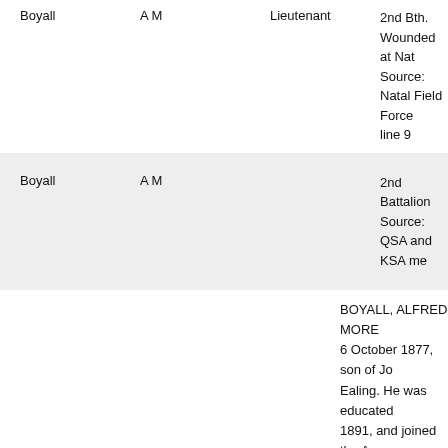| Surname | Initials | Rank | Details |
| --- | --- | --- | --- |
| Boyall | A M | Lieutenant | 2nd Bth. Wounded at Nat...
Source: Natal Field Force...
line 9 |
| Boyall | A M |  | 2nd Battalion
Source: QSA and KSA me... |
BOYALL, ALFRED MORE... 6 October 1877, son of Jo... Ealing. He was educated ... 1891, and joined the Army... in the West Yorkshire Reg... 1898, becoming Lieutenan... served in the South Africa... operations in Natal, 1899,... Ladysmith with the action... of 17 to 24 January 1900;... operations of 5 to 7 Febru... Kranz; operations on Tuge... action at Pieter's Hill, in w... operations in Natal (inclu... Nek), March to June, 1900... ...t of Ret... in the T...